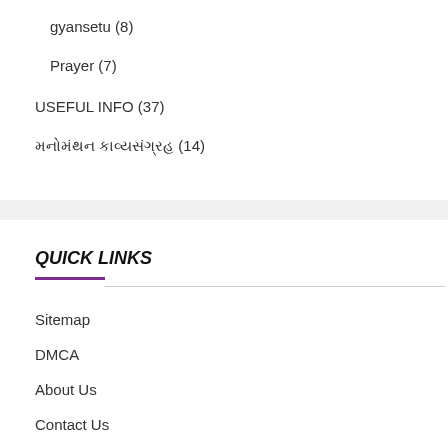gyansetu (8)
Prayer (7)
USEFUL INFO (37)
મનોમંથન કાવ્યસંગ્રહ (14)
QUICK LINKS
Sitemap
DMCA
About Us
Contact Us
Privacy Policy